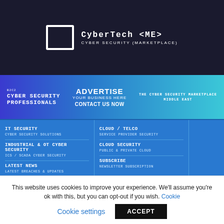[Figure (logo): CyberTech ME Cyber Security Marketplace logo with square bracket icon and text]
[Figure (infographic): Blue gradient advertisement banner: 'B2C2 CYBER SECURITY PROFESSIONALS' on left, 'ADVERTISE YOUR BUSINESS HERE CONTACT US NOW' in center, 'THE CYBER SECURITY MARKETPLACE MIDDLE EAST' on right]
IT SECURITY
CYBER SECURITY SOLUTIONS
INDUSTRIAL & OT CYBER SECURITY
ICS / SCADA CYBER SECURITY
LATEST NEWS
LATEST BREACHES & UPDATES
CLOUD / TELCO
SERVICE PROVIDER SECURITY
CLOUD SECURITY
PUBLIC & PRIVATE CLOUD
SUBSCRIBE
NEWSLETTER SUBSCRIPTION
This website uses cookies to improve your experience. We'll assume you're ok with this, but you can opt-out if you wish. Cookie settings ACCEPT